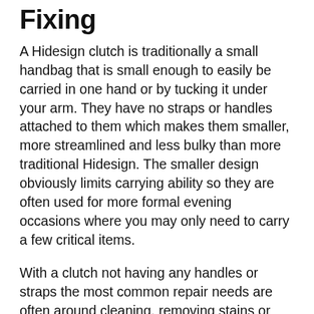Fixing
A Hidesign clutch is traditionally a small handbag that is small enough to easily be carried in one hand or by tucking it under your arm. They have no straps or handles attached to them which makes them smaller, more streamlined and less bulky than more traditional Hidesign. The smaller design obviously limits carrying ability so they are often used for more formal evening occasions where you may only need to carry a few critical items.
With a clutch not having any handles or straps the most common repair needs are often around cleaning, removing stains or fixing patches of wear or fraying seems.